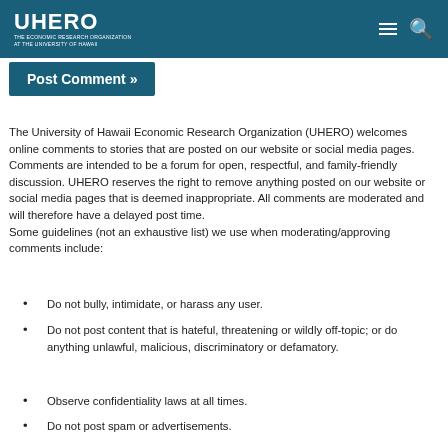UHERO — THE ECONOMIC RESEARCH ORGANIZATION AT THE UNIVERSITY OF HAWAII
Post Comment »
The University of Hawaii Economic Research Organization (UHERO) welcomes online comments to stories that are posted on our website or social media pages. Comments are intended to be a forum for open, respectful, and family-friendly discussion. UHERO reserves the right to remove anything posted on our website or social media pages that is deemed inappropriate. All comments are moderated and will therefore have a delayed post time.
Some guidelines (not an exhaustive list) we use when moderating/approving comments include:
Do not bully, intimidate, or harass any user.
Do not post content that is hateful, threatening or wildly off-topic; or do anything unlawful, malicious, discriminatory or defamatory.
Observe confidentiality laws at all times.
Do not post spam or advertisements.